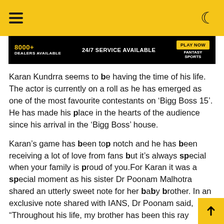Navigation header with hamburger menu and dark mode toggle
[Figure (infographic): Advertisement banner: 8000+ DEALERS AVAILABLE | 24/7 SERVICE AVAILABLE | FANTASY SPORTS | PLAY NOW button]
Karan Kundrra seems to be having the time of his life. The actor is currently on a roll as he has emerged as one of the most favourite contestants on ‘Bigg Boss 15’. He has made his place in the hearts of the audience since his arrival in the ‘Bigg Boss’ house.
Karan’s game has been top notch and he has been receiving a lot of love from fans but it’s always special when your family is proud of you.For Karan it was a special moment as his sister Dr Poonam Malhotra shared an utterly sweet note for her baby brother. In an exclusive note shared with IANS, Dr Poonam said, “Throughout his life, my brother has been this ray